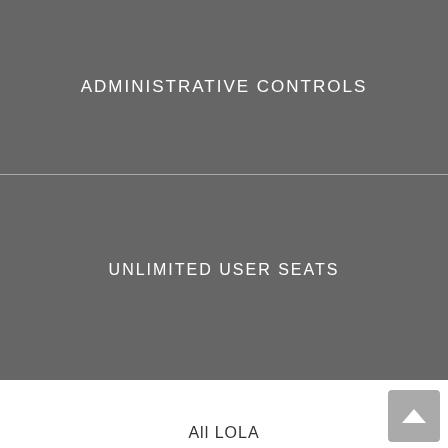ADMINISTRATIVE CONTROLS
UNLIMITED USER SEATS
EMAIL US
All LOLA